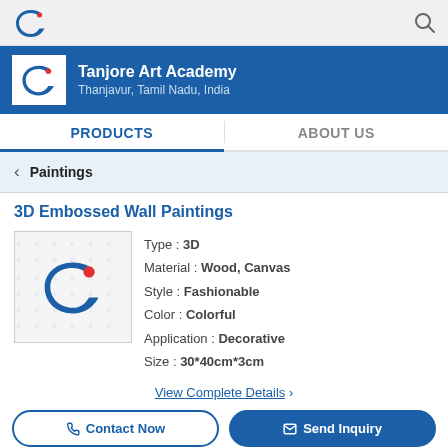e (logo) | search icon
Tanjore Art Academy
Thanjavur, Tamil Nadu, India
PRODUCTS | ABOUT US
< Paintings
3D Embossed Wall Paintings
[Figure (logo): Indiamart e-logo watermark placeholder image for product]
Type : 3D
Material : Wood, Canvas
Style : Fashionable
Color : Colorful
Application : Decorative
Size : 30*40cm*3cm
View Complete Details >
Contact Now | Send Inquiry